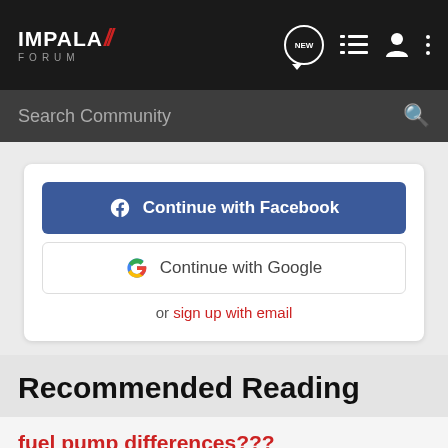IMPALA SS FORUM
Search Community
[Figure (screenshot): Continue with Facebook button (blue) and Continue with Google button (white with Google G logo), followed by 'or sign up with email' link]
Recommended Reading
fuel pump differences???
Engine Performance
2  529